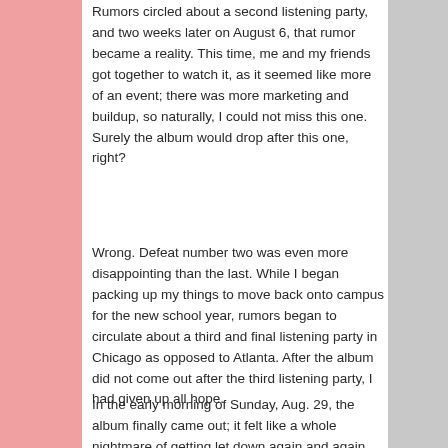Rumors circled about a second listening party, and two weeks later on August 6, that rumor became a reality. This time, me and my friends got together to watch it, as it seemed like more of an event; there was more marketing and buildup, so naturally, I could not miss this one. Surely the album would drop after this one, right?
Wrong. Defeat number two was even more disappointing than the last. While I began packing up my things to move back onto campus for the new school year, rumors began to circulate about a third and final listening party in Chicago as opposed to Atlanta. After the album did not come out after the third listening party, I had given up all hope.
In the early morning of Sunday, Aug. 29, the album finally came out; it felt like a whole nightmare of getting let down again and again was over. It was everything I had hoped it